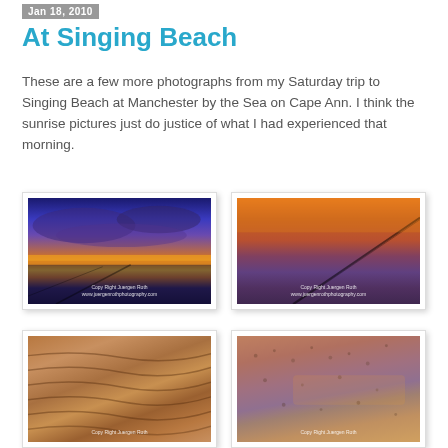Jan 18, 2010
At Singing Beach
These are a few more photographs from my Saturday trip to Singing Beach at Manchester by the Sea on Cape Ann. I think the sunrise pictures just do justice of what I had experienced that morning.
[Figure (photo): Sunset/sunrise at Singing Beach with dramatic orange and blue sky reflected on wet sand, with watermark 'Copy Right Juergen Roth www.juergenrothphotography.com']
[Figure (photo): Orange sunrise light over flat wet beach sand with a diagonal line/crack, watermark 'Copy Right Juergen Roth www.juergenrothphotography.com']
[Figure (photo): Close-up of sand ripples in warm orange light, watermark 'Copy Right Juergen Roth']
[Figure (photo): Close-up of pebbles/gravel on beach in warm light, watermark 'Copy Right Juergen Roth']